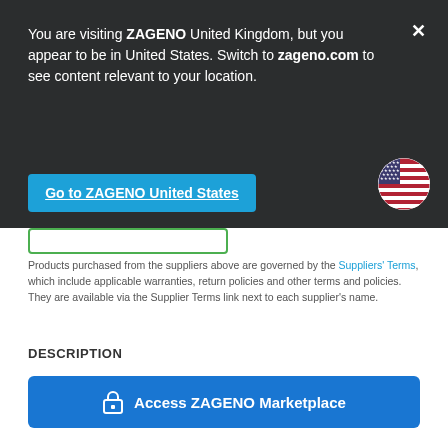You are visiting ZAGENO United Kingdom, but you appear to be in United States. Switch to zageno.com to see content relevant to your location.
Go to ZAGENO United States
Products purchased from the suppliers above are governed by the Suppliers' Terms, which include applicable warranties, return policies and other terms and policies. They are available via the Supplier Terms link next to each supplier's name.
DESCRIPTION
Access ZAGENO Marketplace
Log In & Buy